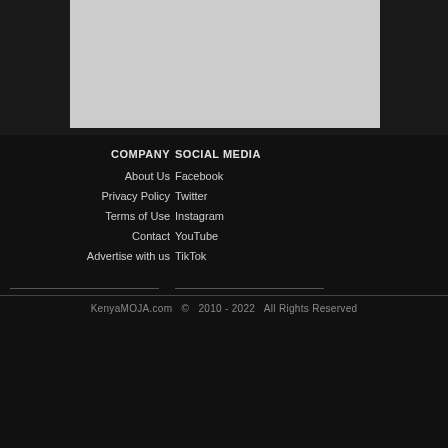COMPANY
SOCIAL MEDIA
About Us
Facebook
Privacy Policy
Twitter
Terms of Use
Instagram
Contact
YouTube
Advertise with us
TikTok
KenyaMOJA.com  ©  2010 - 2022  All Rights Reserved